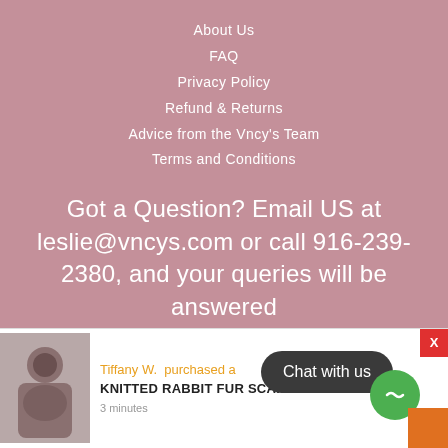About Us
FAQ
Privacy Policy
Refund & Returns
Advice from the Vncy's Team
Terms and Conditions
Got a Question? Email US at leslie@vncys.com or call 916-239-2380, and your queries will be answered
[Figure (screenshot): Dark footer bar with social media icons: Twitter, Facebook, Pinterest, Instagram, Google+, Tumblr, YouTube, and another icon]
[Figure (screenshot): Purchase notification bar showing Tiffany W. purchased a KNITTED RABBIT FUR SCARF SET, 3 minutes ago, with product image on left and Chat with us button overlay]